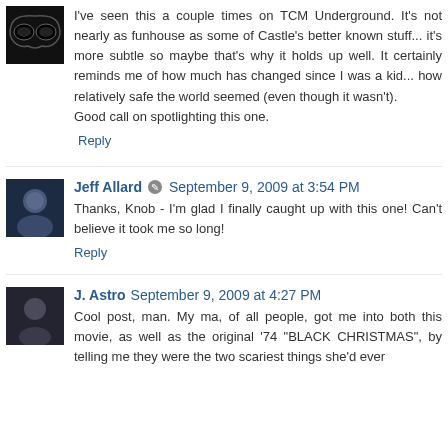I've seen this a couple times on TCM Underground. It's not nearly as funhouse as some of Castle's better known stuff... it's more subtle so maybe that's why it holds up well. It certainly reminds me of how much has changed since I was a kid... how relatively safe the world seemed (even though it wasn't).
Good call on spotlighting this one.
Reply
Jeff Allard  September 9, 2009 at 3:54 PM
Thanks, Knob - I'm glad I finally caught up with this one! Can't believe it took me so long!
Reply
J. Astro  September 9, 2009 at 4:27 PM
Cool post, man. My ma, of all people, got me into both this movie, as well as the original '74 "BLACK CHRISTMAS", by telling me they were the two scariest things she'd ever